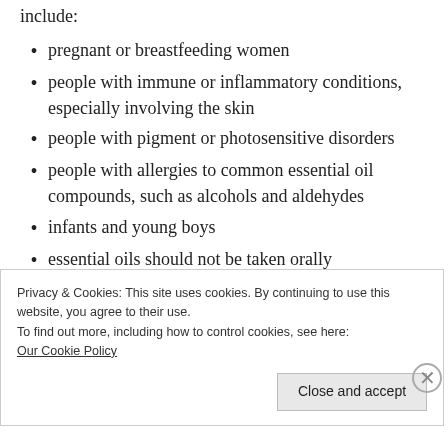include:
pregnant or breastfeeding women
people with immune or inflammatory conditions, especially involving the skin
people with pigment or photosensitive disorders
people with allergies to common essential oil compounds, such as alcohols and aldehydes
infants and young boys
essential oils should not be taken orally
Privacy & Cookies: This site uses cookies. By continuing to use this website, you agree to their use.
To find out more, including how to control cookies, see here:
Our Cookie Policy